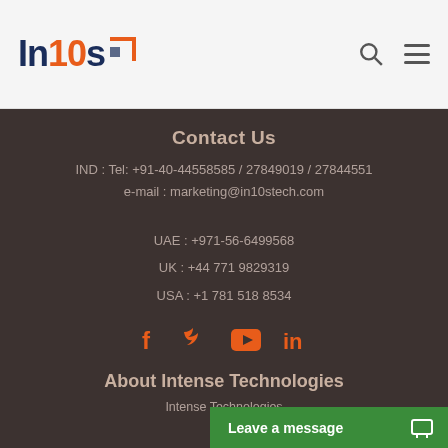In10s
Contact Us
IND : Tel: +91-40-44558585 / 27849019 / 27844551
e-mail : marketing@in10stech.com
UAE : +971-56-6499568
UK : +44 771 9829319
USA : +1 781 518 8534
[Figure (infographic): Social media icons: Facebook, Twitter, YouTube, LinkedIn in orange]
About Intense Technologies
Intense Technologies
Leave a message